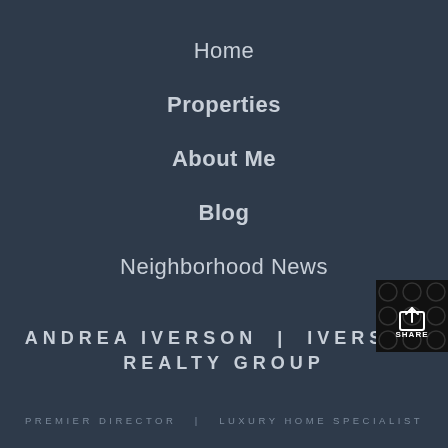Home
Properties
About Me
Blog
Neighborhood News
[Figure (infographic): Share button with black background and geometric pattern, showing an upload/share icon and the word SHARE]
ANDREA IVERSON | IVERSON REALTY GROUP
PREMIER DIRECTOR | LUXURY HOME SPECIALIST